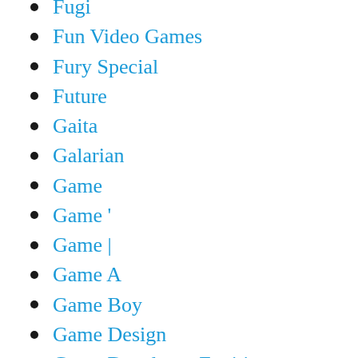Fugi
Fun Video Games
Fury Special
Future
Gaita
Galarian
Game
Game '
Game |
Game A
Game Boy
Game Design
Game Developer Exciting
Game Developer Gets
Game Freak Has
Game Pass
Game Review